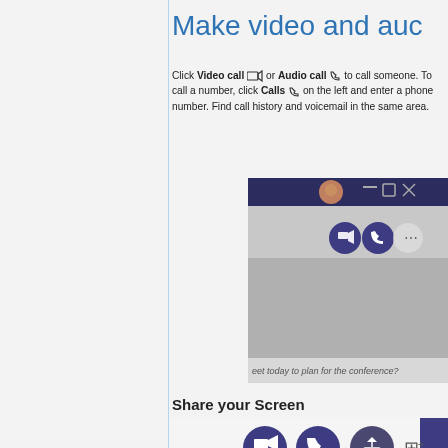Make video and auc
Click Video call or Audio call to call someone. To call a number, click Calls on the left and enter a phone number. Find call history and voicemail in the same area.
[Figure (screenshot): Microsoft Teams video call interface showing call buttons and a chat message saying 'eet today to plan for the conference?']
Share your Screen
[Figure (screenshot): Microsoft Teams interface showing Share Screen button (upload icon) with Start sharing tooltip visible, along with video call and audio call buttons]
Share a File